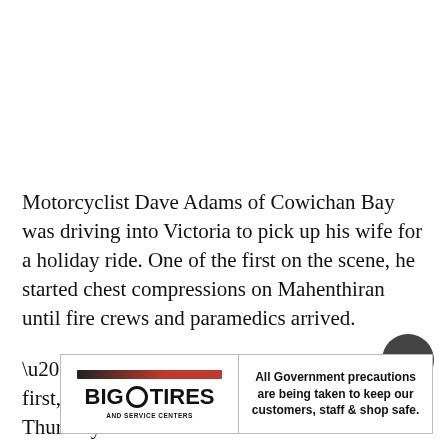Motorcyclist Dave Adams of Cowichan Bay was driving into Victoria to pick up his wife for a holiday ride. One of the first on the scene, he started chest compressions on Mahenthiran until fire crews and paramedics arrived.
“I didn’t know it was a biker at first, and it was just carnage,” Adams said Thursday outside of Western Communities Courthouse. “There was a big fire from the bike gas tan…
[Figure (other): Big O Tires advertisement banner with logo on left (red and black bar above BIG O TIRES text with AND SERVICE CENTERS subtext) and text on right: 'All Government precautions are being taken to keep our customers, staff & shop safe.']